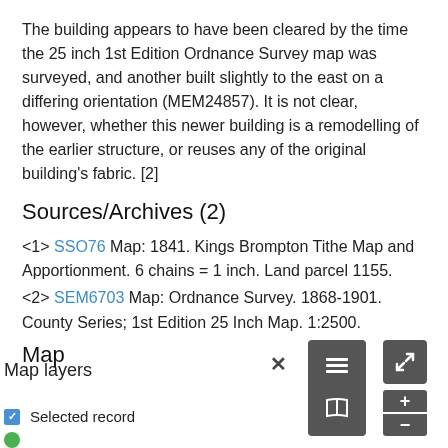The building appears to have been cleared by the time the 25 inch 1st Edition Ordnance Survey map was surveyed, and another built slightly to the east on a differing orientation (MEM24857). It is not clear, however, whether this newer building is a remodelling of the earlier structure, or reuses any of the original building's fabric. [2]
Sources/Archives (2)
<1> SSO76 Map: 1841. Kings Brompton Tithe Map and Apportionment. 6 chains = 1 inch. Land parcel 1155.
<2> SEM6703 Map: Ordnance Survey. 1868-1901. County Series; 1st Edition 25 Inch Map. 1:2500.
Map
[Figure (screenshot): Interactive map UI showing map layers panel with close (×) button, layers icon button, book icon button, expand icon, zoom in (+) and zoom out (−) controls. Map layers panel label visible. Selected record checkbox and green dot indicator at bottom.]